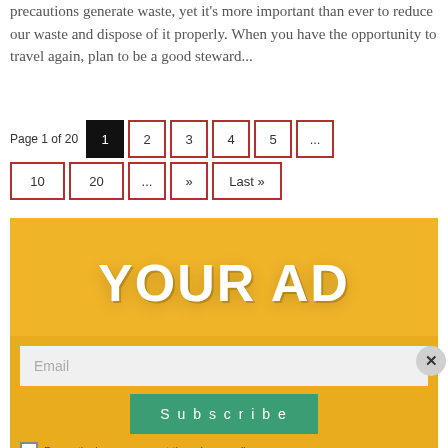precautions generate waste, yet it's more important than ever to reduce our waste and dispose of it properly. When you have the opportunity to travel again, plan to be a good steward...
Page 1 of 20  1  2  3  4  5  ...  10  20  ...  »  Last »
[Figure (infographic): Yellow advertisement banner with large white bold text reading 'YOUR AD']
Email
Subscribe
By continuing, you accept the privacy policy